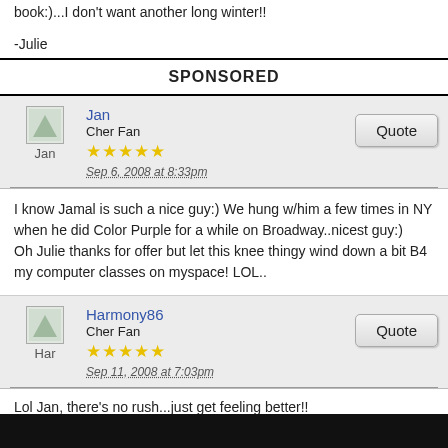book:)...I don't want another long winter!!
-Julie
SPONSORED
Jan
Cher Fan
★★★★★
Sep 6, 2008 at 8:33pm
I know Jamal is such a nice guy:) We hung w/him a few times in NY when he did Color Purple for a while on Broadway..nicest guy:)
Oh Julie thanks for offer but let this knee thingy wind down a bit B4 my computer classes on myspace! LOL..
Harmony86
Cher Fan
★★★★★
Sep 11, 2008 at 7:03pm
Lol Jan, there's no rush...just get feeling better!!

Ugh, can't believe how fast it has gotten COLD. UGH. I want to move